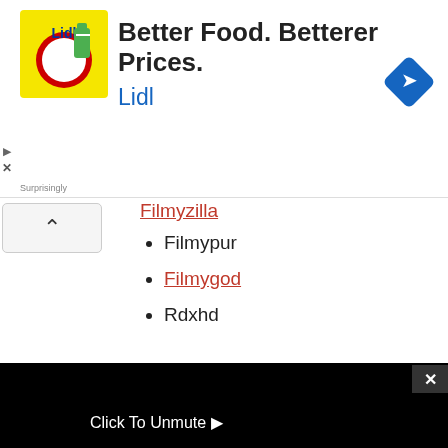[Figure (screenshot): Lidl advertisement banner with logo, text 'Better Food. Betterer Prices. Lidl', and a blue navigation arrow icon]
Filmyzilla (red underlined link, partially visible)
Filmypur
Filmygod (red underlined link)
Rdxhd (partially visible)
[Figure (screenshot): Black video player overlay with 'Click To Unmute' text and cursor icon, and a 'Source not found' error message in a gray box with red warning icon]